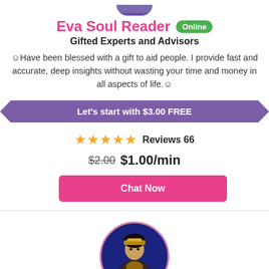Eva Soul Reader
Online
Gifted Experts and Advisors
☺Have been blessed with a gift to aid people. I provide fast and accurate, deep insights without wasting your time and money in all aspects of life.☺
Let's start with $3.00 FREE
★★★★★ Reviews 66
$2.00 $1.00/min
Chat Now
[Figure (photo): Circular profile photo of a fortune teller woman in costume holding a crystal ball, on a dark blue background with a pink/purple circular border]
Call